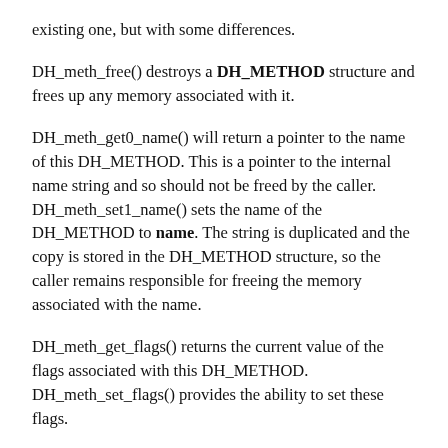existing one, but with some differences.
DH_meth_free() destroys a DH_METHOD structure and frees up any memory associated with it.
DH_meth_get0_name() will return a pointer to the name of this DH_METHOD. This is a pointer to the internal name string and so should not be freed by the caller. DH_meth_set1_name() sets the name of the DH_METHOD to name. The string is duplicated and the copy is stored in the DH_METHOD structure, so the caller remains responsible for freeing the memory associated with the name.
DH_meth_get_flags() returns the current value of the flags associated with this DH_METHOD. DH_meth_set_flags() provides the ability to set these flags.
The functions DH_meth_get0_app_data() and